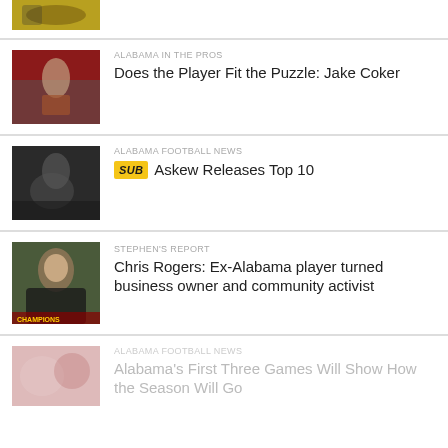[Figure (photo): Football players in yellow/green uniforms (partial top of page)]
[Figure (photo): Alabama quarterback in red uniform throwing a pass]
ALABAMA IN THE PROS
Does the Player Fit the Puzzle: Jake Coker
[Figure (photo): Football player in dark uniform running with ball]
ALABAMA FOOTBALL NEWS
SUB Askew Releases Top 10
[Figure (photo): Portrait of Chris Rogers, a Black man in casual attire]
STEPHEN'S REPORT
Chris Rogers: Ex-Alabama player turned business owner and community activist
[Figure (photo): Faded photo of football players on field]
ALABAMA FOOTBALL NEWS
Alabama's First Three Games Will Show How the Season Will Go